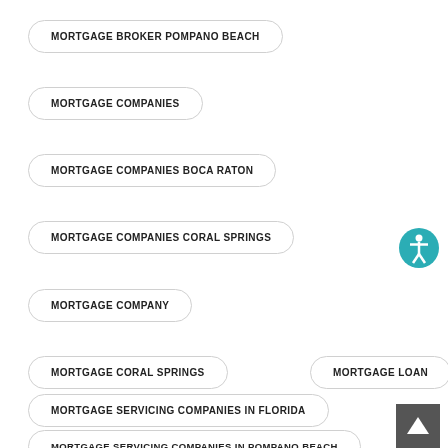MORTGAGE BROKER POMPANO BEACH
MORTGAGE COMPANIES
MORTGAGE COMPANIES BOCA RATON
MORTGAGE COMPANIES CORAL SPRINGS
MORTGAGE COMPANY
MORTGAGE CORAL SPRINGS
MORTGAGE LOAN
MORTGAGE SERVICING COMPANIES IN FLORIDA
MORTGAGE SERVICING COMPANIES IN POMPANO BEACH